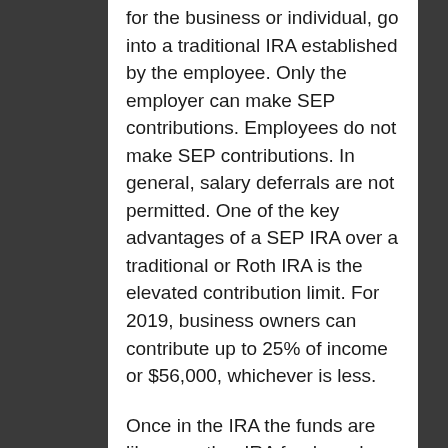for the business or individual, go into a traditional IRA established by the employee. Only the employer can make SEP contributions. Employees do not make SEP contributions. In general, salary deferrals are not permitted. One of the key advantages of a SEP IRA over a traditional or Roth IRA is the elevated contribution limit. For 2019, business owners can contribute up to 25% of income or $56,000, whichever is less.
Once in the IRA the funds are like any other IRA funds and are subject to all the rules that normally apply to IRAs. The funds immediately belong to the employee, and they can do whatever they